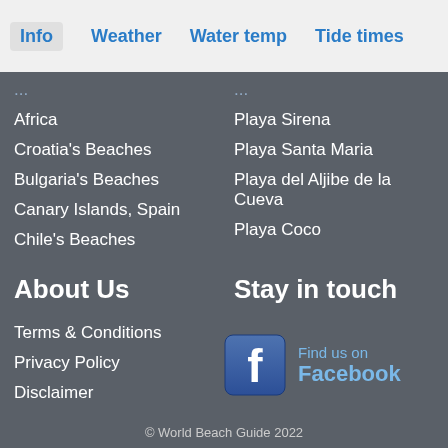Info | Weather | Water temp | Tide times
Africa
Croatia's Beaches
Bulgaria's Beaches
Canary Islands, Spain
Chile's Beaches
Playa Sirena
Playa Santa Maria
Playa del Aljibe de la Cueva
Playa Coco
About Us
Stay in touch
Terms & Conditions
Privacy Policy
Disclaimer
[Figure (logo): Find us on Facebook logo with blue F icon and text 'Find us on Facebook']
© World Beach Guide 2022